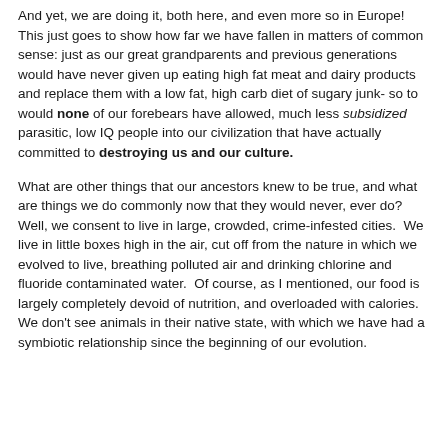And yet, we are doing it, both here, and even more so in Europe!  This just goes to show how far we have fallen in matters of common sense: just as our great grandparents and previous generations would have never given up eating high fat meat and dairy products and replace them with a low fat, high carb diet of sugary junk- so to would none of our forebears have allowed, much less subsidized parasitic, low IQ people into our civilization that have actually committed to destroying us and our culture.
What are other things that our ancestors knew to be true, and what are things we do commonly now that they would never, ever do?  Well, we consent to live in large, crowded, crime-infested cities.  We live in little boxes high in the air, cut off from the nature in which we evolved to live, breathing polluted air and drinking chlorine and fluoride contaminated water.  Of course, as I mentioned, our food is largely completely devoid of nutrition, and overloaded with calories.  We don't see animals in their native state, with which we have had a symbiotic relationship since the beginning of our evolution.